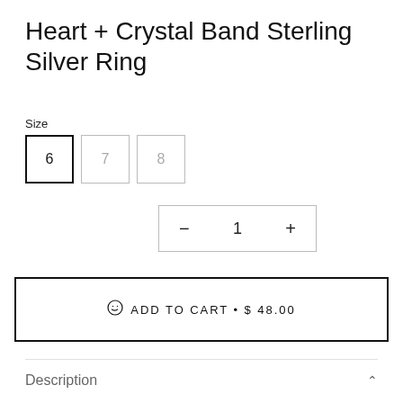Heart + Crystal Band Sterling Silver Ring
Size
6  7  8
- 1 +
☺ ADD TO CART • $ 48.00
Description